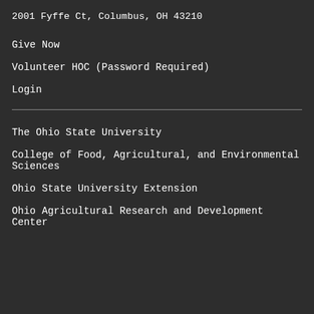2001 Fyffe Ct, Columbus, OH 43210
Give Now
Volunteer HOC (Password Required)
Login
The Ohio State University
College of Food, Agricultural, and Environmental Sciences
Ohio State University Extension
Ohio Agricultural Research and Development Center